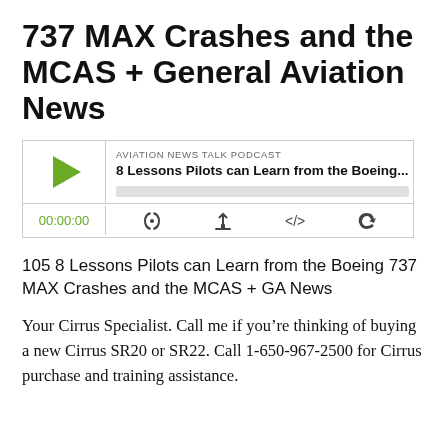737 MAX Crashes and the MCAS + General Aviation News
[Figure (other): Podcast player widget for Aviation News Talk Podcast episode '8 Lessons Pilots can Learn from the Boeing...' showing play button, progress bar, timestamp 00:00:00, and control icons]
105 8 Lessons Pilots can Learn from the Boeing 737 MAX Crashes and the MCAS + GA News
Your Cirrus Specialist. Call me if you’re thinking of buying a new Cirrus SR20 or SR22. Call 1-650-967-2500 for Cirrus purchase and training assistance.